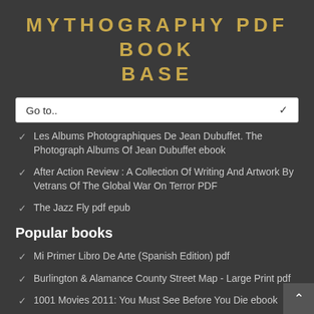MYTHOGRAPHY PDF BOOK BASE
Les Albums Photographiques De Jean Dubuffet. The Photograph Albums Of Jean Dubuffet ebook
After Action Review : A Collection Of Writing And Artwork By Vetrans Of The Global War On Terror PDF
The Jazz Fly pdf epub
Popular books
Mi Primer Libro De Arte (Spanish Edition) pdf
Burlington & Alamance County Street Map - Large Print pdf
1001 Movies 2011: You Must See Before You Die ebook